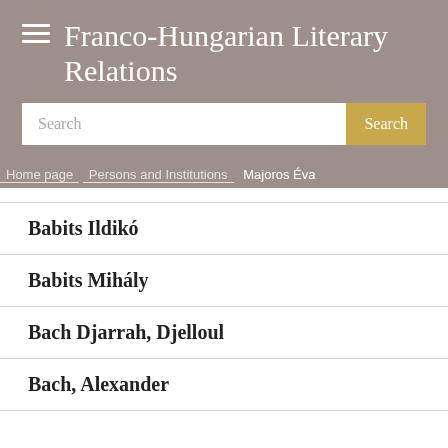Franco-Hungarian Literary Relations
Search
Home page > Persons and Institutions > Majoros Éva
Babits Ildikó
Babits Mihály
Bach Djarrah, Djelloul
Bach, Alexander